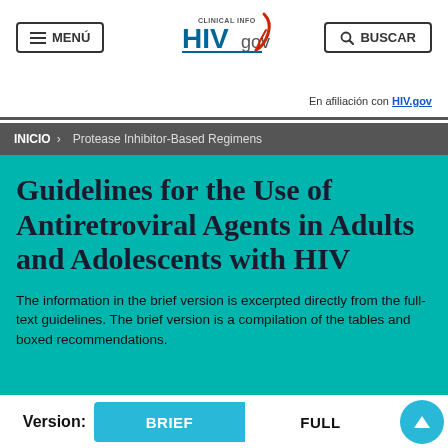MENÚ  |  Clinical Info HIVgov  |  BUSCAR  |  En afiliación con HIV.gov
INICIO > Protease Inhibitor-Based Regimens
Guidelines for the Use of Antiretroviral Agents in Adults and Adolescents with HIV
The information in the brief version is excerpted directly from the full-text guidelines. The brief version is a compilation of the tables and boxed recommendations.
Version: BRIEF  FULL